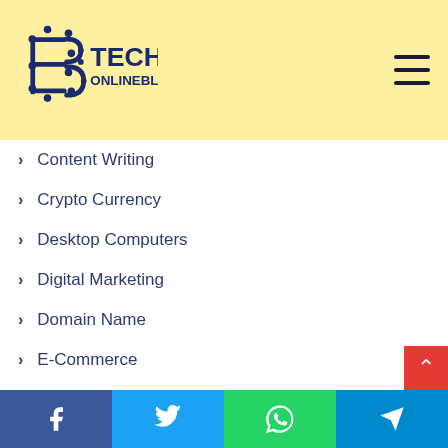[Figure (logo): B Tech Online Blog logo with circuit-style letter B and TECH ONLINEBLOG text in dark navy blue on yellow background]
Content Writing
Crypto Currency
Desktop Computers
Digital Marketing
Domain Name
E-Commerce
Education
Finance
Freelancing
Games & Gaming
General